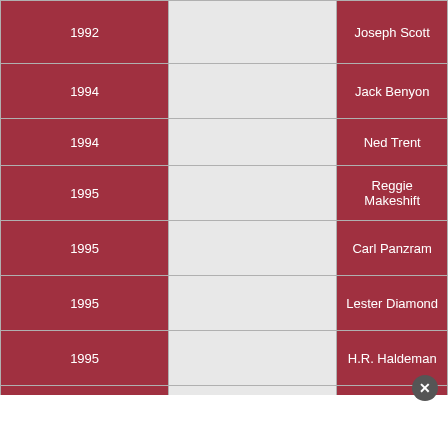| Year |  | Role |
| --- | --- | --- |
| 1992 |  | Joseph Scott |
| 1994 |  | Jack Benyon |
| 1994 |  | Ned Trent |
| 1995 |  | Reggie Makeshift |
| 1995 |  | Carl Panzram |
| 1995 |  | Lester Diamond |
| 1995 |  | H.R. Haldeman |
| 1996 |  | Byron De La Beckwith |
| 1997 |  | Uncle Sam |
| 1997 (voice only) |  | Hades; Lord of the Underworld |
| 1997 |  | Michael … |